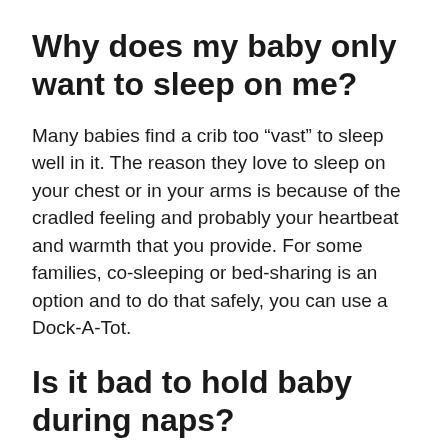Why does my baby only want to sleep on me?
Many babies find a crib too “vast” to sleep well in it. The reason they love to sleep on your chest or in your arms is because of the cradled feeling and probably your heartbeat and warmth that you provide. For some families, co-sleeping or bed-sharing is an option and to do that safely, you can use a Dock-A-Tot.
Is it bad to hold baby during naps?
“It’s always okay to hold an infant under four months old, to put them to sleep the way